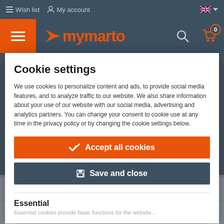Wish list  My account
[Figure (screenshot): mymarto website logo/brand header with hamburger menu button in orange and brand name in orange stylized text on dark teal background]
Cookie settings
We use cookies to personalize content and ads, to provide social media features, and to analyze traffic to our website. We also share information about your use of our website with our social media, advertising and analytics partners. You can change your consent to cookie use at any time in the privacy policy or by changing the cookie settings below.
Accept all cookies
Save and close
Essential
Essential cookies provide basic functions for the website...
model
type